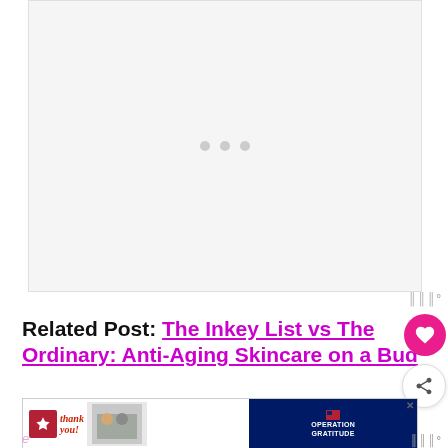[Figure (other): Large gray placeholder ad box with three loading dots in the center]
Related Post: The Inkey List vs The Ordinary: Anti-Aging Skincare on a Bud
[Figure (other): Bottom banner advertisement: Thank you military - Operation Gratitude ad with close button]